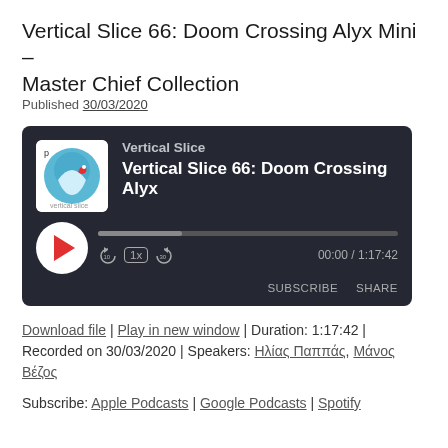Vertical Slice 66: Doom Crossing Alyx Mini – Master Chief Collection
Published 30/03/2020
[Figure (other): Podcast player widget for Vertical Slice, episode 'Vertical Slice 66: Doom Crossing Alyx', showing play button, progress bar, speed controls, time 00:00 / 1:17:42, SUBSCRIBE and SHARE buttons]
Download file | Play in new window | Duration: 1:17:42 | Recorded on 30/03/2020 | Speakers: Ηλίας Παππάς, Μάνος Βέζος
Subscribe: Apple Podcasts | Google Podcasts | Spotify